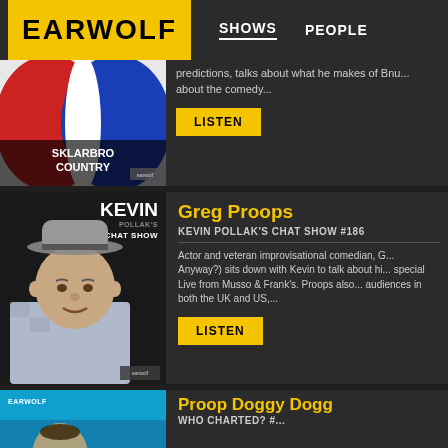EARWOLF | SHOWS  PEOPLE
[Figure (screenshot): Sklarbro Country podcast thumbnail - red white and blue NBA-style logo design with text SKLARBRO COUNTRY]
predictions, talks about what he makes of Bnu... about the comedy...
LISTEN
[Figure (photo): Kevin Pollak's Chat Show podcast thumbnail featuring a man in a checkered shirt and fedora hat]
Greg Proops
KEVIN POLLAK'S CHAT SHOW #186
Actor and veteran improvisational comedian, G... Anyway?) sits down with Kevin to talk about hi... special Live from Musso & Frank's. Proops also... audiences in both the UK and US,...
LISTEN
[Figure (screenshot): Earwolf podcast thumbnail in teal/blue with a person visible at the bottom]
Proop Doggy Dogg
WHO CHARTED? #...